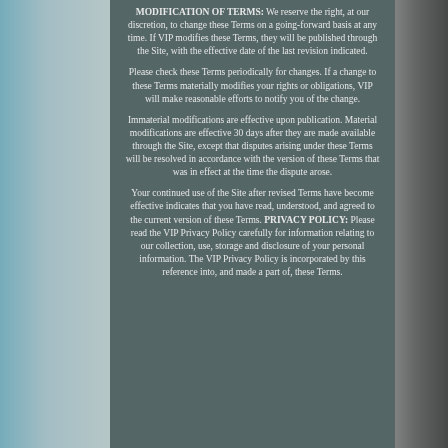MODIFICATION OF TERMS: We reserve the right, at our discretion, to change these Terms on a going-forward basis at any time. If VIP modifies these Terms, they will be published through the Site, with the effective date of the last revision indicated.
Please check these Terms periodically for changes. If a change to these Terms materially modifies your rights or obligations, VIP will make reasonable efforts to notify you of the change.
Immaterial modifications are effective upon publication. Material modifications are effective 30 days after they are made available through the Site, except that disputes arising under these Terms will be resolved in accordance with the version of these Terms that was in effect at the time the dispute arose.
Your continued use of the Site after revised Terms have become effective indicates that you have read, understood, and agreed to the current version of these Terms. PRIVACY POLICY: Please read the VIP Privacy Policy carefully for information relating to our collection, use, storage and disclosure of your personal information. The VIP Privacy Policy is incorporated by this reference into, and made a part of, these Terms.